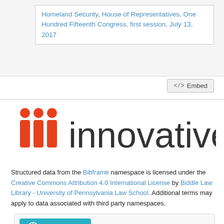Homeland Security, House of Representatives, One Hundred Fifteenth Congress, first session, July 13, 2017
[Figure (logo): Innovative Interfaces logo with three red person-shaped icons and the word 'innovative' in dark gray]
Structured data from the Bibframe namespace is licensed under the Creative Commons Attribution 4.0 International License by Biddle Law Library - University of Pennsylvania Law School. Additional terms may apply to data associated with third party namespaces.
Link Analysis